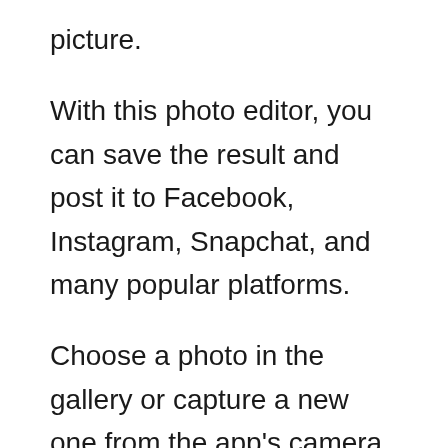picture.
With this photo editor, you can save the result and post it to Facebook, Instagram, Snapchat, and many popular platforms.
Choose a photo in the gallery or capture a new one from the app's camera. Then, add the frame and apply all the contents you want.
Moreover, during the editing, you are able to rotate, zoom, drag the photo to suit the frame size. This app works offline when you edit the photo. Well, more than 10 million people downloaded it.